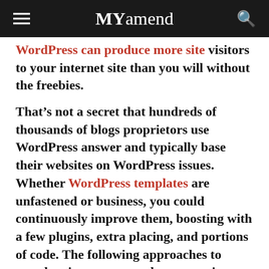MYamend
WordPress can produce more site visitors to your internet site than you will without the freebies.
That’s not a secret that hundreds of thousands of blogs proprietors use WordPress answer and typically base their websites on WordPress issues. Whether WordPress templates are unfastened or business, you could continuously improve them, boosting with a few plugins, extra placing, and portions of code. The following approaches to template improvement do not require any understanding of code or different unique talents: